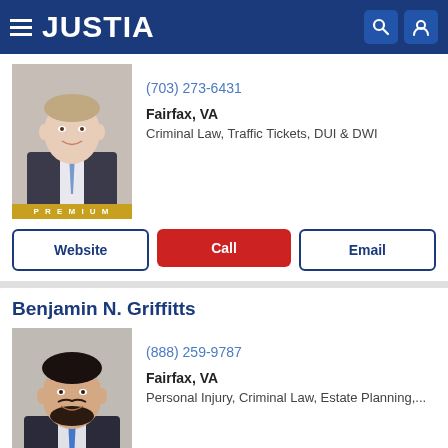JUSTIA
[Figure (photo): Headshot of first lawyer, male, light hair, suit and tie, smiling. PREMIUM badge below.]
(703) 273-6431
Fairfax, VA
Criminal Law, Traffic Tickets, DUI & DWI
Website | Call | Email
Benjamin N. Griffitts
[Figure (photo): Headshot of Benjamin N. Griffitts, male, dark hair and beard, suit and tie, smiling. PREMIUM badge below.]
(888) 259-9787
Fairfax, VA
Personal Injury, Criminal Law, Estate Planning,...
Website | Call | Email